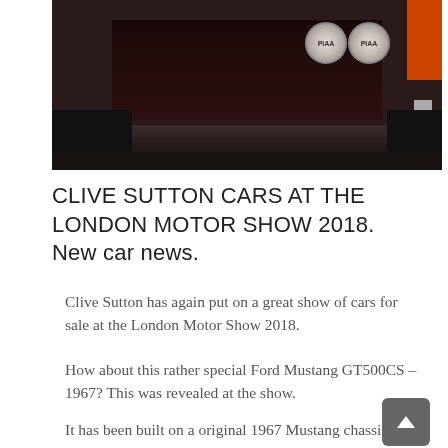[Figure (photo): Front view of a dark/black Ford Mustang GT500CS 1967 with two round PIAA auxiliary lights on the hood, photographed at the London Motor Show 2018 against an orange/red background booth.]
CLIVE SUTTON CARS AT THE LONDON MOTOR SHOW 2018. New car news.
Clive Sutton has again put on a great show of cars for sale at the London Motor Show 2018.
How about this rather special Ford Mustang GT500CS – 1967? This was revealed at the show.
It has been built on a original 1967 Mustang chassis with many new parts and panels added. The hand built blue print engine produces an estimated 500 hp...